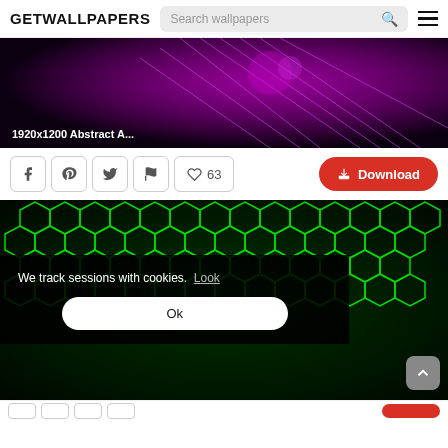GETWALLPAPERS
[Figure (screenshot): Website header with GETWALLPAPERS logo, search bar, and hamburger menu icon]
[Figure (photo): 1920x1200 Abstract wallpaper with purple/magenta glowing lines on dark background. Caption reads '1920x1200 Abstract A...']
1920x1200 Abstract A...
[Figure (screenshot): Social share buttons: Facebook, Pinterest, Twitter, flag icon, heart with 63 likes, and red Download button]
63
Download
[Figure (photo): Green glowing hexagonal cell pattern wallpaper on dark background with cookie consent overlay. Overlay text: 'We track sessions with cookies. Look' and 'Ok' button.]
We track sessions with cookies.  Look
Ok